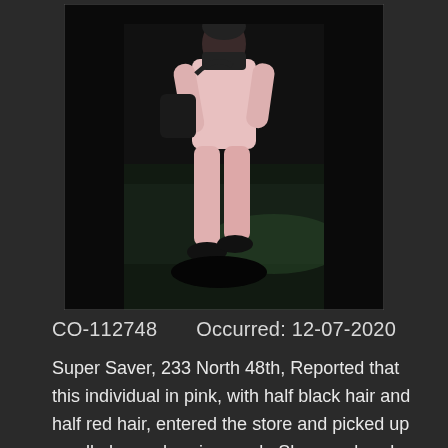[Figure (photo): Surveillance camera still image of a person wearing a pink sweatsuit (top and pants), black shoes, carrying a black bag over one shoulder, wearing a black face mask. The individual is walking away from the camera on a dark background with a greenish floor. The photo is a vertical/portrait orientation security camera capture.]
CO-112748    Occurred: 12-07-2020
Super Saver, 233 North 48th, Reported that this individual in pink, with half black hair and half red hair, entered the store and picked up a cell phone charging cord.  She wandered around the store and then left without paying for the cord.  Employees were able to